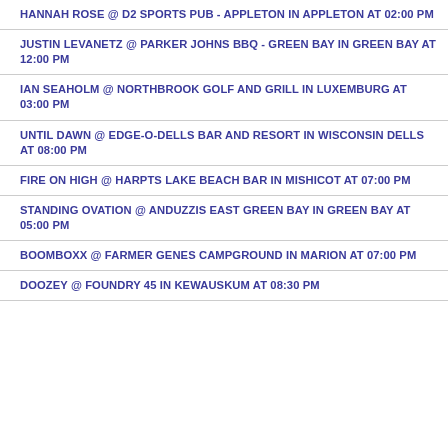HANNAH ROSE @ D2 SPORTS PUB - APPLETON IN APPLETON AT 02:00 PM
JUSTIN LEVANETZ @ PARKER JOHNS BBQ - GREEN BAY IN GREEN BAY AT 12:00 PM
IAN SEAHOLM @ NORTHBROOK GOLF AND GRILL IN LUXEMBURG AT 03:00 PM
UNTIL DAWN @ EDGE-O-DELLS BAR AND RESORT IN WISCONSIN DELLS AT 08:00 PM
FIRE ON HIGH @ HARPTS LAKE BEACH BAR IN MISHICOT AT 07:00 PM
STANDING OVATION @ ANDUZZIS EAST GREEN BAY IN GREEN BAY AT 05:00 PM
BOOMBOXX @ FARMER GENES CAMPGROUND IN MARION AT 07:00 PM
DOOZEY @ FOUNDRY 45 IN KEWAUSKUM AT 08:30 PM